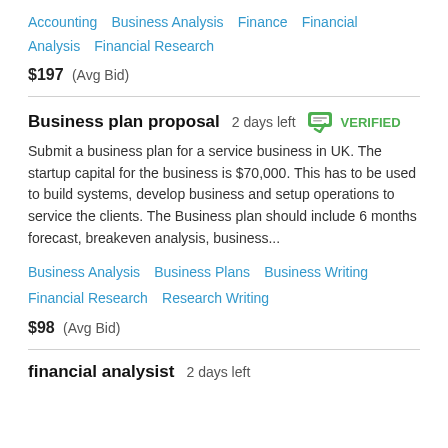Accounting  Business Analysis  Finance  Financial Analysis  Financial Research
$197  (Avg Bid)
Business plan proposal  2 days left  VERIFIED
Submit a business plan for a service business in UK. The startup capital for the business is $70,000. This has to be used to build systems, develop business and setup operations to service the clients. The Business plan should include 6 months forecast, breakeven analysis, business...
Business Analysis  Business Plans  Business Writing  Financial Research  Research Writing
$98  (Avg Bid)
financial analysist  2 days left